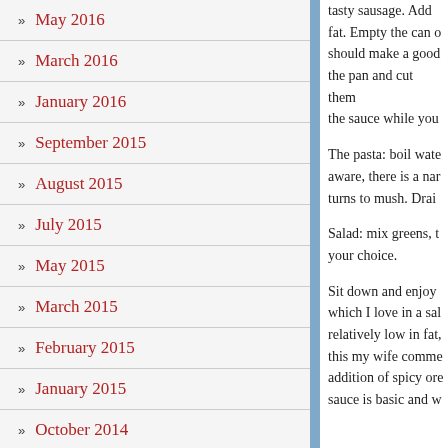» May 2016
» March 2016
» January 2016
» September 2015
» August 2015
» July 2015
» May 2015
» March 2015
» February 2015
» January 2015
» October 2014
» September 2014
» August 2014
tasty sausage. Add fat. Empty the can o should make a good the pan and cut them the sauce while you
The pasta: boil wate aware, there is a nar turns to mush. Drai
Salad: mix greens, t your choice.
Sit down and enjoy which I love in a sal relatively low in fat, this my wife comme addition of spicy ore sauce is basic and w